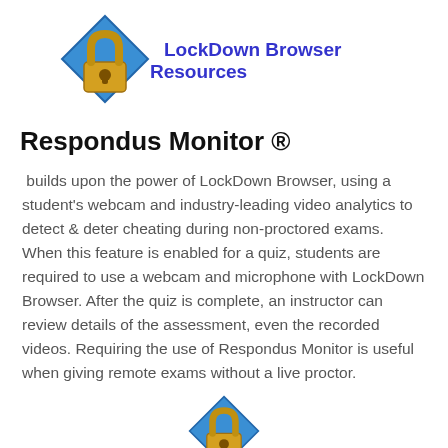[Figure (logo): LockDown Browser padlock icon - gold padlock on blue diamond background]
LockDown Browser Resources
Respondus Monitor ®
builds upon the power of LockDown Browser, using a student's webcam and industry-leading video analytics to detect & deter cheating during non-proctored exams. When this feature is enabled for a quiz, students are required to use a webcam and microphone with LockDown Browser. After the quiz is complete, an instructor can review details of the assessment, even the recorded videos. Requiring the use of Respondus Monitor is useful when giving remote exams without a live proctor.
[Figure (logo): LockDown Browser padlock icon - gold padlock on blue diamond background (bottom, partially visible)]